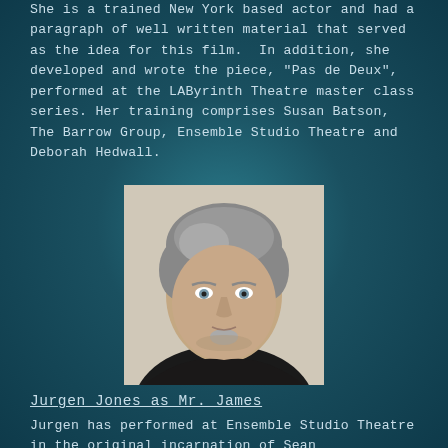She is a trained New York based actor and had a paragraph of well written material that served as the idea for this film. In addition, she developed and wrote the piece, "Pas de Deux", performed at the LAByrinth Theatre master class series. Her training comprises Susan Batson, The Barrow Group, Ensemble Studio Theatre and Deborah Hedwall.
[Figure (photo): Headshot portrait of a middle-aged man with gray-streaked hair, light eyes, and a short goatee, wearing a dark shirt, photographed against a light background.]
Jurgen Jones as Mr. James
Jurgen has performed at Ensemble Studio Theatre in the original incarnation of Sean Sutherland's "Mountains in the Bering" and will soon appear in an up and coming silent short by StaatsFactory entitled,